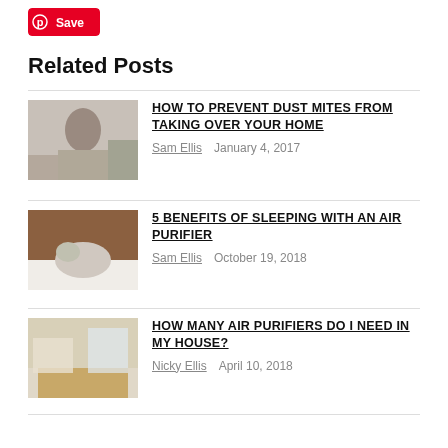[Figure (logo): Pinterest Save button (red background with Pinterest P icon and 'Save' text)]
Related Posts
[Figure (photo): Thumbnail image of a woman with plants]
HOW TO PREVENT DUST MITES FROM TAKING OVER YOUR HOME
Sam Ellis    January 4, 2017
[Figure (photo): Thumbnail image of a cat on a bed]
5 BENEFITS OF SLEEPING WITH AN AIR PURIFIER
Sam Ellis    October 19, 2018
[Figure (photo): Thumbnail image of a living room interior]
HOW MANY AIR PURIFIERS DO I NEED IN MY HOUSE?
Nicky Ellis    April 10, 2018
[Figure (photo): Thumbnail image of a bright room interior]
WHY ARE AIR PURIFIER FILTERS SO EXPENSIVE?
Sam Ellis    February 4, 2019